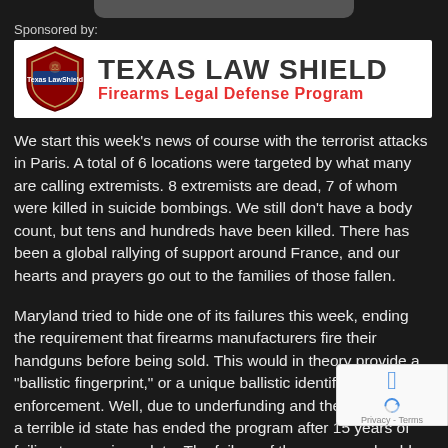Sponsored by:
[Figure (logo): Texas Law Shield - Firearms Legal Defense Program banner with red shield logo on white background]
We start this week's news of course with the terrorist attacks in Paris. A total of 6 locations were targeted by what many are calling extremists. 8 extremists are dead, 7 of whom were killed in suicide bombings. We still don't have a body count, but tens and hundreds have been killed. There has been a global rallying of support around France, and our hearts and prayers go out to the families of those fallen.
Maryland tried to hide one of its failures this week, ending the requirement that firearms manufacturers fire their handguns before being sold. This would in theory provide a “ballistic fingerprint,” or a unique ballistic identification for law enforcement. Well, due to underfunding and the fact that it’s a terrible id... state has ended the program after 15 years of failing to pr... unique data. The failure of the program should be a signa... control advocates that their ideas should just stay ideas, and not